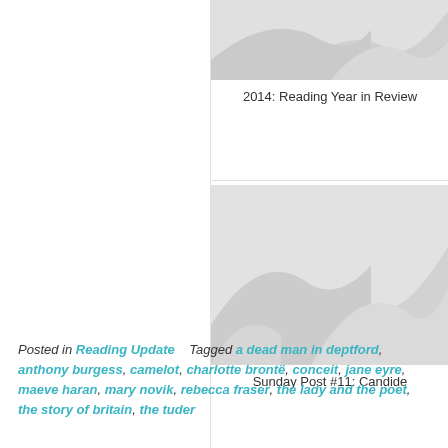[Figure (illustration): Placeholder grey decorative image for '2014: Reading Year in Review' post thumbnail]
2014: Reading Year in Review
[Figure (illustration): Placeholder grey decorative image for 'Sunday Post #11: Candide' post thumbnail]
Sunday Post #11: Candide
Posted in Reading Update   Tagged a dead man in deptford, anthony burgess, camelot, charlotte brontë, conceit, jane eyre, maeve haran, mary novik, rebecca fraser, the lady and the poet, the story of britain, the tudors